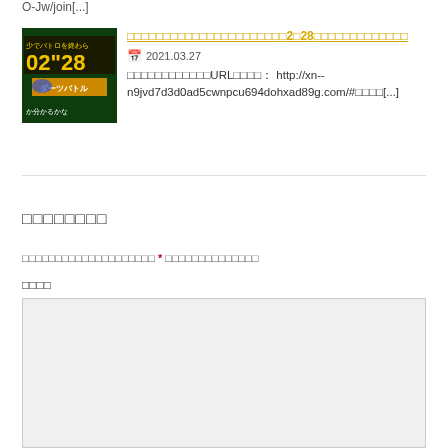O-Jw/join[...]
[Figure (screenshot): Thumbnail image of a game video showing '02"28' timer and Japanese text]
□□□□□□□□□□□□□□□□□□□□□□2□28□□□□□□□□□□□□
2021.03.27
□□□□□□□□□□□□URL□□□□： http://xn--n9jvd7d3d0ad5cwnpcu694dohxad89g.com/#□□□□[...]
□□□□□□□□
□□□□□□□□□□□□□□□□□□□□ * □□□□□□□□□□□□□□
□□□□